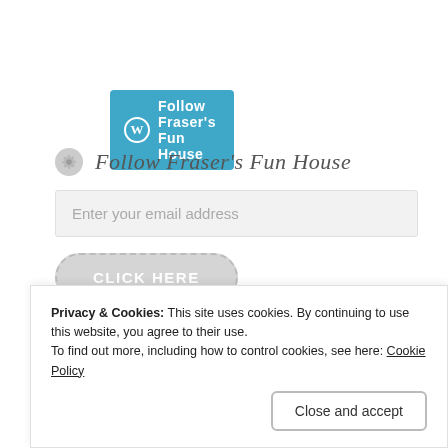[Figure (screenshot): WordPress Follow button bar: blue rounded rectangle with WordPress W icon and 'Follow Fraser's Fun House' text in white]
[Figure (screenshot): Follow widget UI with gear icon, italic title 'Follow Fraser's Fun House', email input field, and dashed 'CLICK HERE' button]
[Figure (screenshot): Teal blue banner partially visible at bottom of page]
Privacy & Cookies: This site uses cookies. By continuing to use this website, you agree to their use.
To find out more, including how to control cookies, see here: Cookie Policy
Close and accept